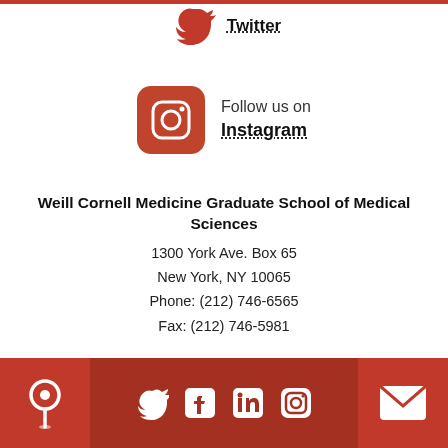[Figure (logo): Twitter bird logo (partial, cropped at top) above 'Twitter' text link]
Twitter
[Figure (logo): Instagram camera icon in orange/red rounded square]
Follow us on
Instagram
Weill Cornell Medicine Graduate School of Medical Sciences
1300 York Ave. Box 65
New York, NY 10065
Phone: (212) 746-6565
Fax: (212) 746-5981
Jump To Top
[Figure (logo): Footer bar with location pin icon, Twitter/Facebook/LinkedIn/Instagram social icons, and envelope/email icon on dark red background]